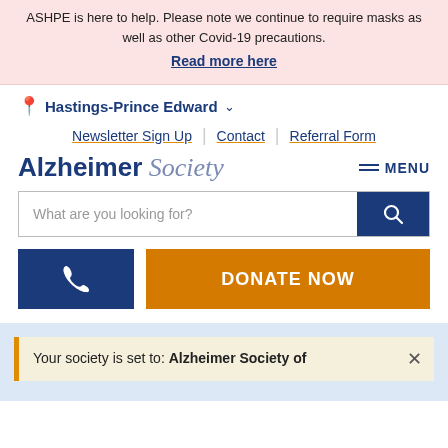ASHPE is here to help. Please note we continue to require masks as well as other Covid-19 precautions.
Read more here
Hastings-Prince Edward
Newsletter Sign Up | Contact | Referral Form
Alzheimer Society
MENU
What are you looking for?
DONATE NOW
Your society is set to: Alzheimer Society of